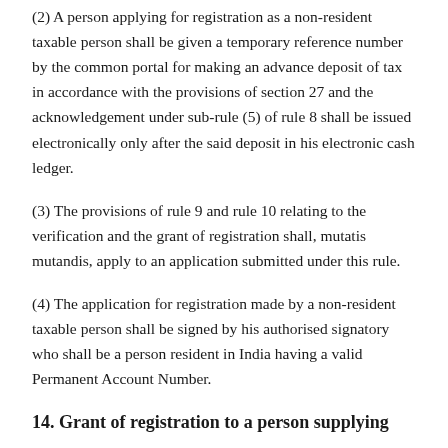(2) A person applying for registration as a non-resident taxable person shall be given a temporary reference number by the common portal for making an advance deposit of tax in accordance with the provisions of section 27 and the acknowledgement under sub-rule (5) of rule 8 shall be issued electronically only after the said deposit in his electronic cash ledger.
(3) The provisions of rule 9 and rule 10 relating to the verification and the grant of registration shall, mutatis mutandis, apply to an application submitted under this rule.
(4) The application for registration made by a non-resident taxable person shall be signed by his authorised signatory who shall be a person resident in India having a valid Permanent Account Number.
14. Grant of registration to a person supplying